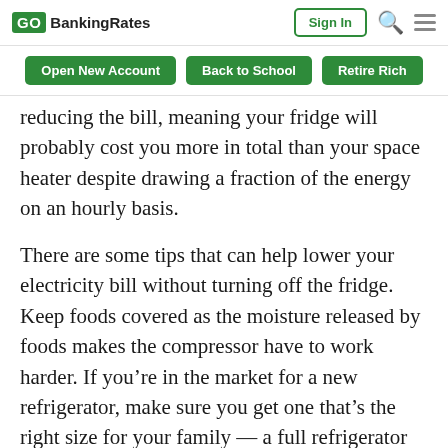GOBankingRates | Sign In | Search | Menu
Open New Account | Back to School | Retire Rich
reducing the bill, meaning your fridge will probably cost you more in total than your space heater despite drawing a fraction of the energy on an hourly basis.
There are some tips that can help lower your electricity bill without turning off the fridge. Keep foods covered as the moisture released by foods makes the compressor have to work harder. If you’re in the market for a new refrigerator, make sure you get one that’s the right size for your family — a full refrigerator uses less energy than one that’s half-empty. And of course, decide what you want before you open the